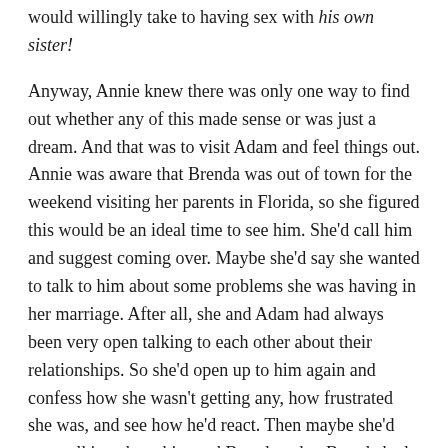would willingly take to having sex with his own sister!
Anyway, Annie knew there was only one way to find out whether any of this made sense or was just a dream. And that was to visit Adam and feel things out. Annie was aware that Brenda was out of town for the weekend visiting her parents in Florida, so she figured this would be an ideal time to see him. She'd call him and suggest coming over. Maybe she'd say she wanted to talk to him about some problems she was having in her marriage. After all, she and Adam had always been very open talking to each other about their relationships. So she'd open up to him again and confess how she wasn't getting any, how frustrated she was, and see how he'd react. Then maybe she'd start talking about him and Brenda, what Brenda had said about their lovemaking. After that, if it seemed like the right thing to do, she could bring up to him how she had heard from Brenda that he was hung really, really big. She'd watch how he reacted to that shocker... and then she'd take it from there.